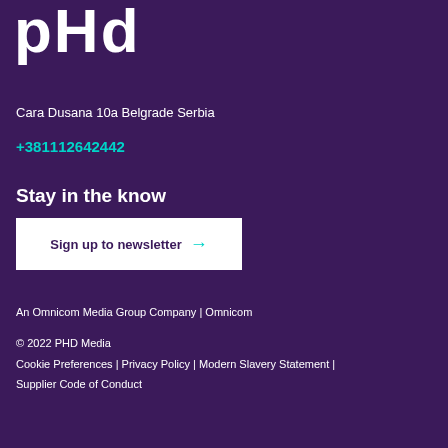[Figure (logo): PHD logo in white bold lowercase letters on dark purple background]
Cara Dusana 10a Belgrade Serbia
+381112642442
Stay in the know
Sign up to newsletter →
An Omnicom Media Group Company | Omnicom
© 2022 PHD Media
Cookie Preferences | Privacy Policy | Modern Slavery Statement | Supplier Code of Conduct